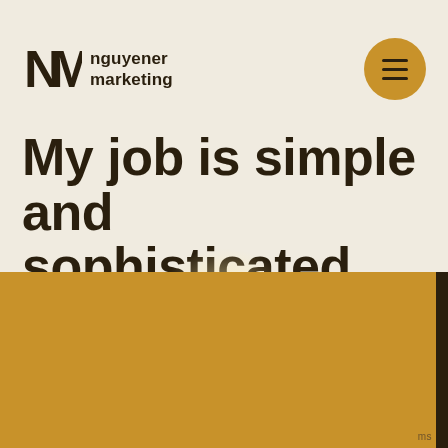[Figure (logo): Nguyener Marketing logo with stylized NM lettermark and text 'nguyener marketing']
My job is simple and sophisticated.
[Figure (photo): Large golden/amber colored image area below the title, with a dark brown vertical strip on the right edge]